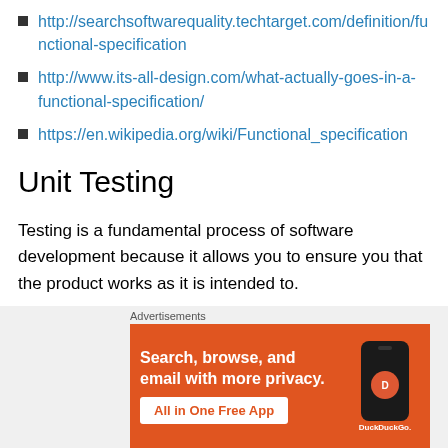http://searchsoftwarequality.techtarget.com/definition/functional-specification
http://www.its-all-design.com/what-actually-goes-in-a-functional-specification/
https://en.wikipedia.org/wiki/Functional_specification
Unit Testing
Testing is a fundamental process of software development because it allows you to ensure you that the product works as it is intended to.
[Figure (other): DuckDuckGo advertisement banner with orange background showing 'Search, browse, and email with more privacy. All in One Free App' with DuckDuckGo logo and phone mockup]